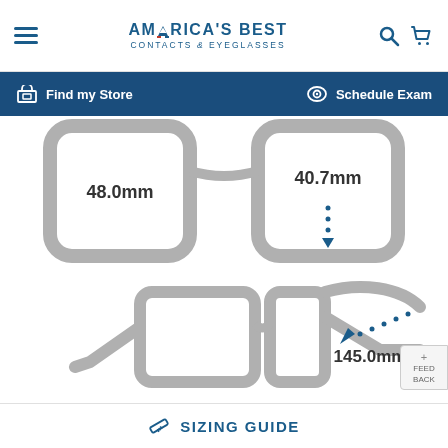[Figure (screenshot): America's Best Contacts & Eyeglasses website header with hamburger menu, logo, search and cart icons]
[Figure (infographic): Navigation bar with Find my Store and Schedule Exam links on dark blue background]
[Figure (infographic): Eyeglasses sizing diagram showing lens width 48.0mm and lens height 40.7mm with dotted measurement arrows]
[Figure (infographic): Side view of eyeglasses showing temple arm length measurement of 145.0mm with blue dotted arrow]
SIZING GUIDE